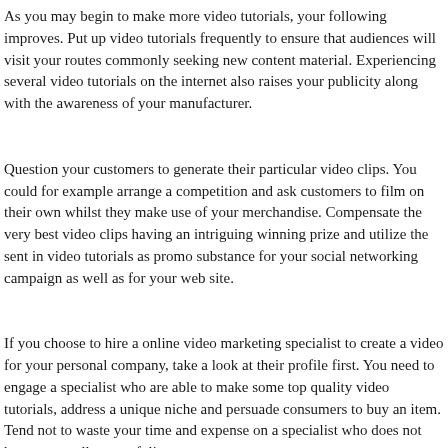As you may begin to make more video tutorials, your following improves. Put up video tutorials frequently to ensure that audiences will visit your routes commonly seeking new content material. Experiencing several video tutorials on the internet also raises your publicity along with the awareness of your manufacturer.
Question your customers to generate their particular video clips. You could for example arrange a competition and ask customers to film on their own whilst they make use of your merchandise. Compensate the very best video clips having an intriguing winning prize and utilize the sent in video tutorials as promo substance for your social networking campaign as well as for your web site.
If you choose to hire a online video marketing specialist to create a video for your personal company, take a look at their profile first. You need to engage a specialist who are able to make some top quality video tutorials, address a unique niche and persuade consumers to buy an item. Tend not to waste your time and expense on a specialist who does not have an excellent portfolio.